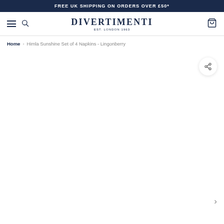FREE UK SHIPPING ON ORDERS OVER £50*
[Figure (logo): Divertimenti logo — DIVERTIMENTI EST. LONDON 1963]
Home › Himla Sunshine Set of 4 Napkins - Lingonberry
[Figure (other): Product image area (empty/loading) with share button and next arrow]